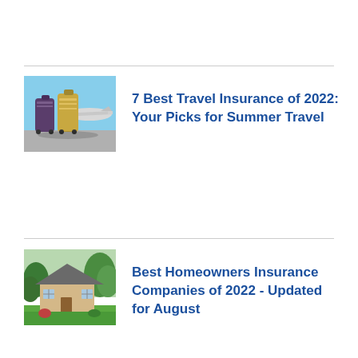[Figure (photo): Suitcases/luggage on airport tarmac with airplane in background]
7 Best Travel Insurance of 2022: Your Picks for Summer Travel
[Figure (photo): Single-family house with lawn and trees]
Best Homeowners Insurance Companies of 2022 - Updated for August